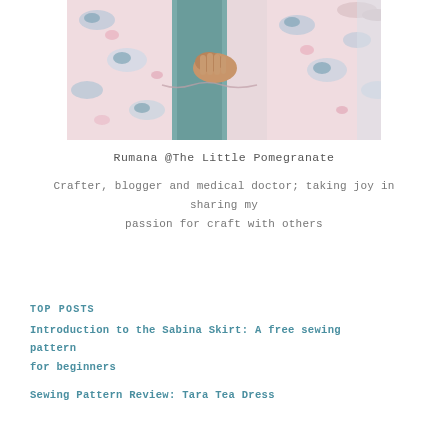[Figure (photo): A woman wearing a pink floral dress with blue and green leaf patterns, holding a teal/sage colored fabric. The photo is cropped to show the torso and arms area.]
Rumana @The Little Pomegranate
Crafter, blogger and medical doctor; taking joy in sharing my passion for craft with others
TOP POSTS
Introduction to the Sabina Skirt: A free sewing pattern for beginners
Sewing Pattern Review: Tara Tea Dress